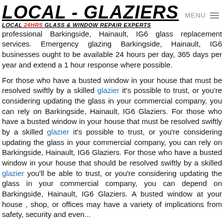LOCAL - GLAZIERS LOCAL 24HRS GLASS & WINDOW REPAIR EXPERTS
professional Barkingside, Hainault, IG6 glass replacement services. Emergency glazing Barkingside, Hainault, IG6 businesses ought to be available 24 hours per day, 365 days per year and extend a 1 hour response where possible.
For those who have a busted window in your house that must be resolved swiftly by a skilled glazier it's possible to trust, or you're considering updating the glass in your commercial company, you can rely on Barkingside, Hainault, IG6 Glaziers. For those who have a busted window in your house that must be resolved swiftly by a skilled glazier it's possible to trust, or you're considering updating the glass in your commercial company, you can rely on Barkingside, Hainault, IG6 Glaziers. For those who have a busted window in your house that should be resolved swiftly by a skilled glazier you'll be able to trust, or you're considering updating the glass in your commercial company, you can depend on Barkingside, Hainault, IG6 Glaziers. A busted window at your house , shop, or offices may have a variety of implications from safety, security and even...